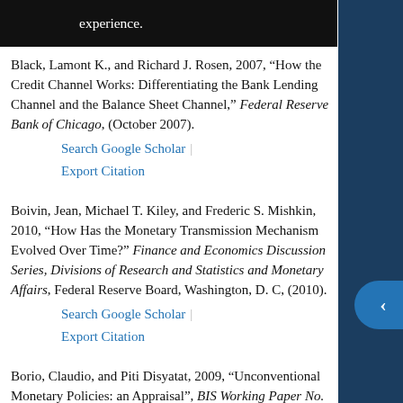experience.
Black, Lamont K., and Richard J. Rosen, 2007, “How the Credit Channel Works: Differentiating the Bank Lending Channel and the Balance Sheet Channel,” Federal Reserve Bank of Chicago, (October 2007).
Search Google Scholar | Export Citation
Boivin, Jean, Michael T. Kiley, and Frederic S. Mishkin, 2010, “How Has the Monetary Transmission Mechanism Evolved Over Time?” Finance and Economics Discussion Series, Divisions of Research and Statistics and Monetary Affairs, Federal Reserve Board, Washington, D. C, (2010).
Search Google Scholar | Export Citation
Borio, Claudio, and Piti Disyatat, 2009, “Unconventional Monetary Policies: an Appraisal”, BIS Working Paper No. 292, (November 2009).